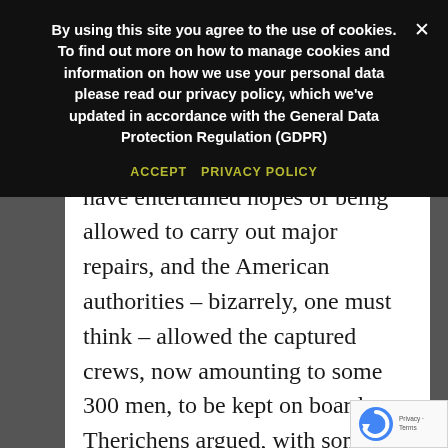By using this site you agree to the use of cookies. To find out more on how to manage cookies and information on how we use your personal data please read our privacy policy, which we've updated in accordance with the General Data Protection Regulation (GDPR)
ACCEPT   PRIVACY POLICY
to head for a neutral port – in this case Newport News in Virginia, arriving there on 11th January. Captain Therichens seemed to have entertained hopes of being allowed to carry out major repairs, and the American authorities – bizarrely, one must think – allowed the captured crews, now amounting to some 300 men, to be kept on board. Therichens argued, with some success, to allowed to stay in Newport News for several